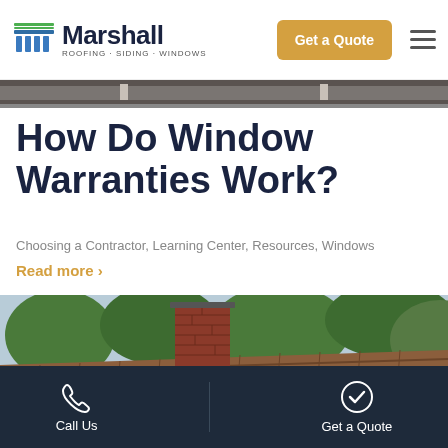Marshall Roofing · Siding · Windows — Get a Quote
[Figure (screenshot): Partial view of a window or railing — top image strip]
How Do Window Warranties Work?
Choosing a Contractor, Learning Center, Resources, Windows
Read more >
[Figure (photo): Photo of a house rooftop with a brick chimney and green trees in background]
Call Us   Get a Quote